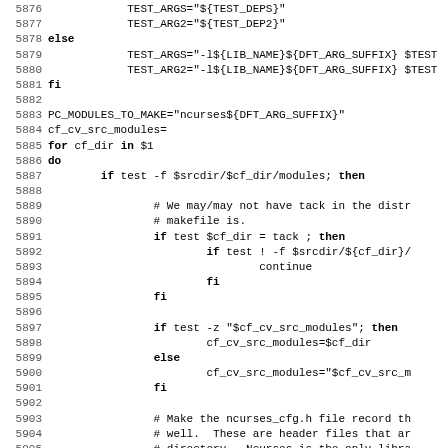Shell script / Makefile source code lines 5876-5907
5876    TEST_ARGS="${TEST_DEPS}"
5877    TEST_ARG2="${TEST_DEP2}"
5878 else
5879    TEST_ARGS="-l${LIB_NAME}${DFT_ARG_SUFFIX} $TEST
5880    TEST_ARG2="-l${LIB_NAME}${DFT_ARG_SUFFIX} $TEST
5881 fi
5882
5883 PC_MODULES_TO_MAKE="ncurses${DFT_ARG_SUFFIX}"
5884 cf_cv_src_modules=
5885 for cf_dir in $1
5886 do
5887        if test -f $srcdir/$cf_dir/modules; then
5888
5889            # We may/may not have tack in the distr
5890            # makefile is.
5891            if test $cf_dir = tack ; then
5892                    if test ! -f $srcdir/${cf_dir}/
5893                            continue
5894                    fi
5895            fi
5896
5897            if test -z "$cf_cv_src_modules"; then
5898                    cf_cv_src_modules=$cf_dir
5899            else
5900                    cf_cv_src_modules="$cf_cv_src_m
5901            fi
5902
5903            # Make the ncurses_cfg.h file record th
5904            # well.  These are header files that ar
5905            # directory.  Ncurses is the only libra
5906            # that pattern.
5907            if test $cf_dir = tack ; then